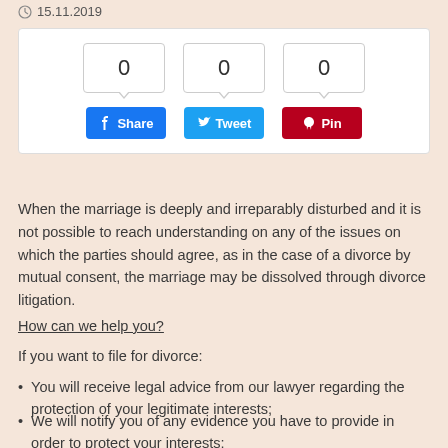15.11.2019
[Figure (screenshot): Social sharing widget with counters showing 0, 0, 0 and buttons for Share (Facebook), Tweet (Twitter), Pin (Pinterest)]
When the marriage is deeply and irreparably disturbed and it is not possible to reach understanding on any of the issues on which the parties should agree, as in the case of a divorce by mutual consent, the marriage may be dissolved through divorce litigation.
How can we help you?
If you want to file for divorce:
You will receive legal advice from our lawyer regarding the protection of your legitimate interests;
We will notify you of any evidence you have to provide in order to protect your interests;
We will draw up a divorce application and prepare all the